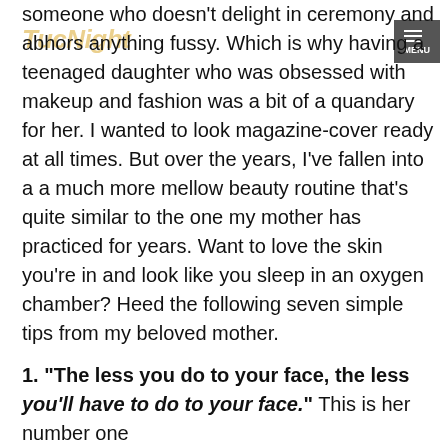TueNight | MENU
someone who doesn't delight in ceremony and abhors anything fussy. Which is why having a teenaged daughter who was obsessed with makeup and fashion was a bit of a quandary for her. I wanted to look magazine-cover ready at all times. But over the years, I've fallen into a a much more mellow beauty routine that's quite similar to the one my mother has practiced for years. Want to love the skin you're in and look like you sleep in an oxygen chamber? Heed the following seven simple tips from my beloved mother.
1. "The less you do to your face, the less you'll have to do to your face." This is her number one